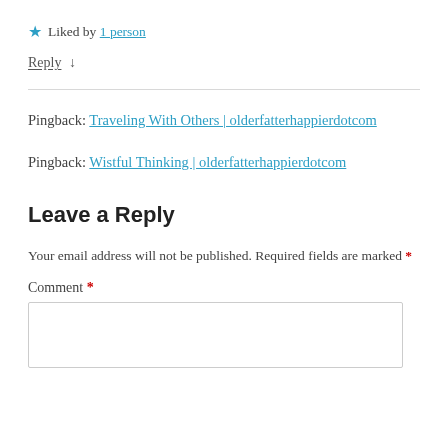★ Liked by 1 person
Reply ↓
Pingback: Traveling With Others | olderfatterhappierdotcom
Pingback: Wistful Thinking | olderfatterhappierdotcom
Leave a Reply
Your email address will not be published. Required fields are marked *
Comment *